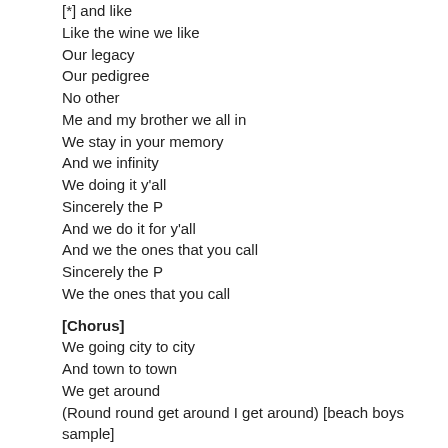[*] and like
Like the wine we like
Our legacy
Our pedigree
No other
Me and my brother we all in
We stay in your memory
And we infinity
We doing it y'all
Sincerely the P
And we do it for y'all
And we the ones that you call
Sincerely the P
We the ones that you call
[Chorus]
We going city to city
And town to town
We get around
(Round round get around I get around) [beach boys sample]
[x3]
Focus
(Fine)
Focus
(Fine)
Focus
(Fine)